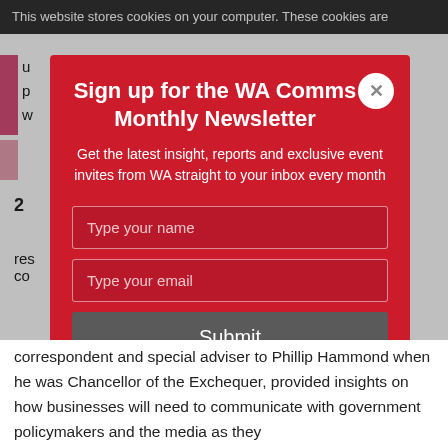This website stores cookies on your computer. These cookies are u... p... w...
Sign up for the WA Comms Monthly Newsletter
Get the latest insight, reports and exclusive event invites from WA straight to your inbox every month
Type your name
Type your email
Submit
correspondent and special adviser to Phillip Hammond when he was Chancellor of the Exchequer, provided insights on how businesses will need to communicate with government policymakers and the media as they